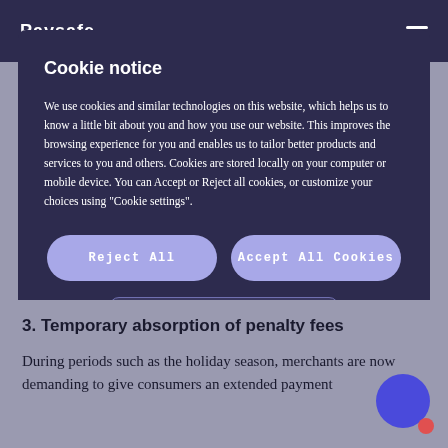Paysafe
Cookie notice
We use cookies and similar technologies on this website, which helps us to know a little bit about you and how you use our website. This improves the browsing experience for you and enables us to tailor better products and services to you and others. Cookies are stored locally on your computer or mobile device. You can Accept or Reject all cookies, or customize your choices using "Cookie settings".
Reject All
Accept All Cookies
Cookies Settings
3. Temporary absorption of penalty fees
During periods such as the holiday season, merchants are now demanding to give consumers an extended payment